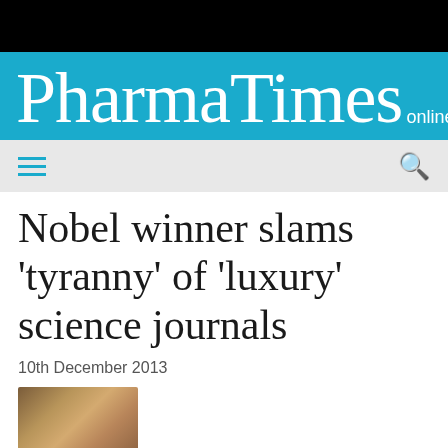[Figure (logo): PharmaTimes online logo on cyan/teal background]
PharmaTimes online
Nobel winner slams 'tyranny' of 'luxury' science journals
10th December 2013
[Figure (photo): Partial photo of a person, cropped at bottom of page]